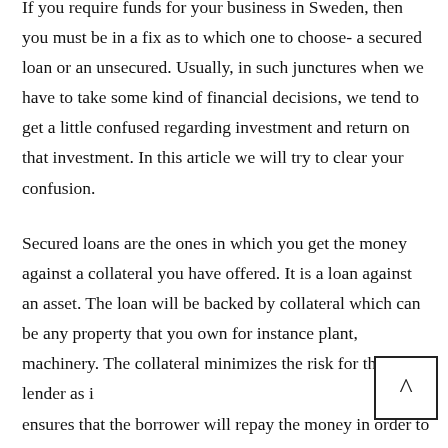If you require funds for your business in Sweden, then you must be in a fix as to which one to choose- a secured loan or an unsecured. Usually, in such junctures when we have to take some kind of financial decisions, we tend to get a little confused regarding investment and return on that investment. In this article we will try to clear your confusion.
Secured loans are the ones in which you get the money against a collateral you have offered. It is a loan against an asset. The loan will be backed by collateral which can be any property that you own for instance plant, machinery. The collateral minimizes the risk for the lender as it ensures that the borrower will repay the money in order to